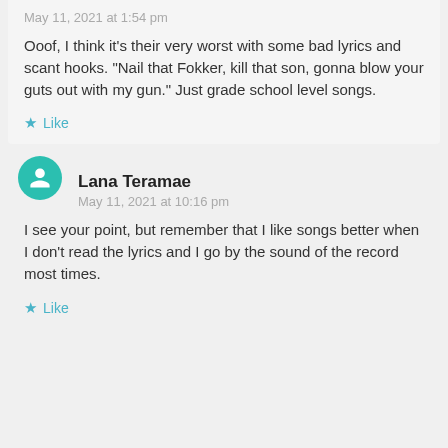May 11, 2021 at 1:54 pm
Ooof, I think it’s their very worst with some bad lyrics and scant hooks. “Nail that Fokker, kill that son, gonna blow your guts out with my gun.” Just grade school level songs.
Like
Lana Teramae
May 11, 2021 at 10:16 pm
I see your point, but remember that I like songs better when I don’t read the lyrics and I go by the sound of the record most times.
Like